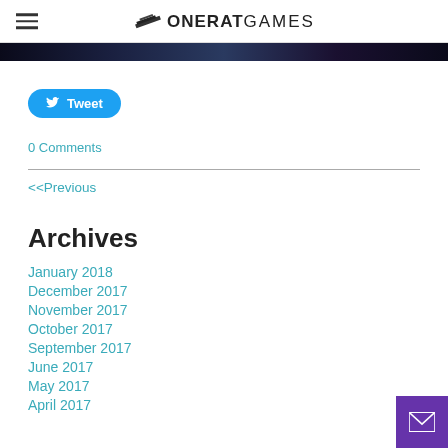ONERAT GAMES
[Figure (illustration): Dark banner image strip across the top of the content area]
Tweet
0 Comments
<<Previous
Archives
January 2018
December 2017
November 2017
October 2017
September 2017
June 2017
May 2017
April 2017